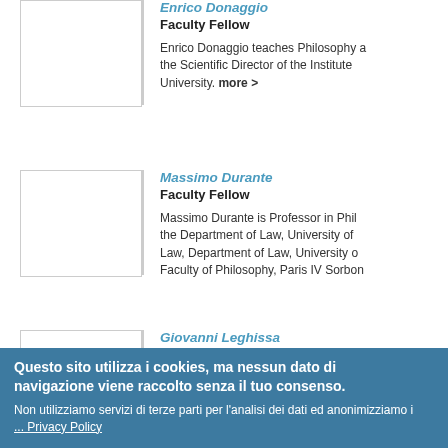Enrico Donaggio
Faculty Fellow
Enrico Donaggio teaches Philosophy and is the Scientific Director of the Institute University. more >
Massimo Durante
Faculty Fellow
Massimo Durante is Professor in Philosophy at the Department of Law, University of Law, Department of Law, University of Faculty of Philosophy, Paris IV Sorbon
Giovanni Leghissa
Faculty Fellow
Questo sito utilizza i cookies, ma nessun dato di navigazione viene raccolto senza il tuo consenso.
Non utilizziamo servizi di terze parti per l'analisi dei dati ed anonimizziamo i ... Privacy Policy